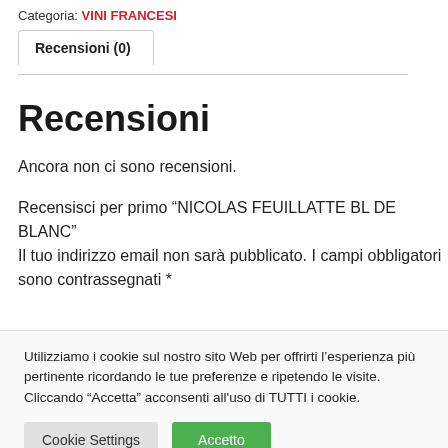Categoria: VINI FRANCESI
Recensioni (0)
Recensioni
Ancora non ci sono recensioni.
Recensisci per primo “NICOLAS FEUILLATTE BL DE BLANC” Il tuo indirizzo email non sarà pubblicato. I campi obbligatori sono contrassegnati *
Utilizziamo i cookie sul nostro sito Web per offrirti l’esperienza più pertinente ricordando le tue preferenze e ripetendo le visite. Cliccando “Accetta” acconsenti all'uso di TUTTI i cookie.